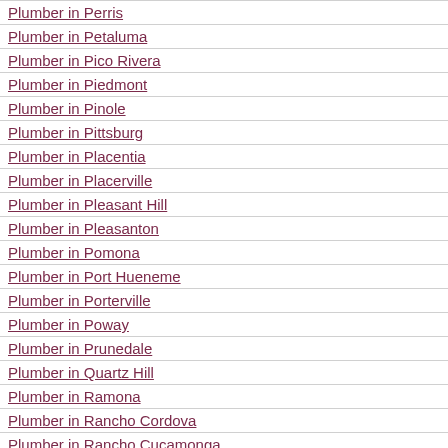Plumber in Perris
Plumber in Petaluma
Plumber in Pico Rivera
Plumber in Piedmont
Plumber in Pinole
Plumber in Pittsburg
Plumber in Placentia
Plumber in Placerville
Plumber in Pleasant Hill
Plumber in Pleasanton
Plumber in Pomona
Plumber in Port Hueneme
Plumber in Porterville
Plumber in Poway
Plumber in Prunedale
Plumber in Quartz Hill
Plumber in Ramona
Plumber in Rancho Cordova
Plumber in Rancho Cucamonga
Plumber in Rancho Mirage
Plumber in Rancho Palos Verdes
Plumber in Rancho San Diego
Plumber in Rancho Santa Margarita
Plumber in Red Bluff
Plumber in Redding
Plumber in Redlands
Plumber in Redondo Beach
Plumber in Redwood